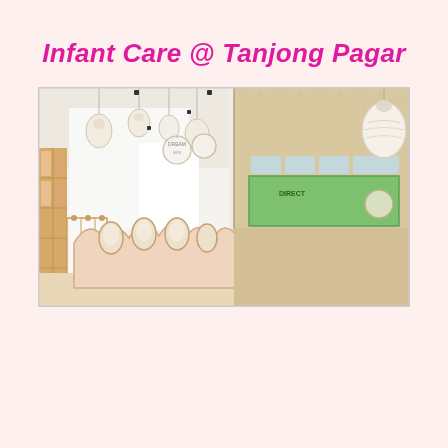Infant Care @ Tanjong Pagar
[Figure (photo): Interior rendering of an infant care room at Tanjong Pagar, showing a play area with rounded wooden partition walls with oval cutouts, an orange-accented soft play platform, pendant globe lights hanging from the ceiling, wooden shelving on the left, and a dining/activity area on the right with small chairs and tables against a green-paneled textured wall.]